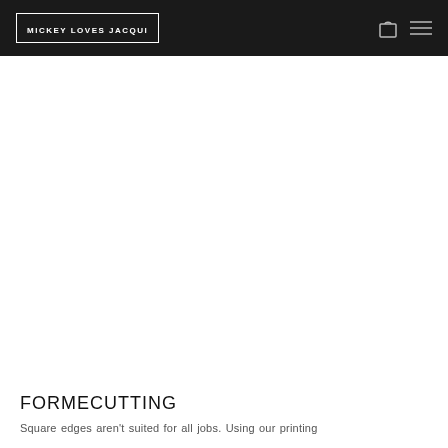MICKEY LOVES JACQUI
FORMECUTTING
Square edges aren't suited for all jobs. Using our printing